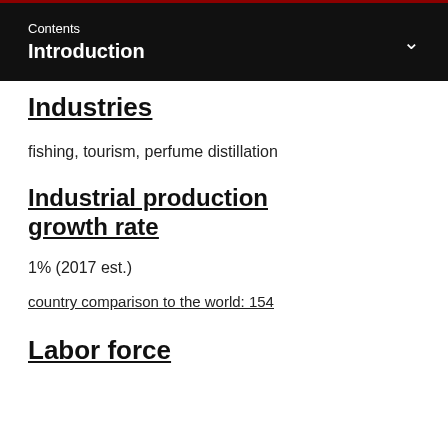Contents
Introduction
Industries
fishing, tourism, perfume distillation
Industrial production growth rate
1% (2017 est.)
country comparison to the world: 154
Labor force